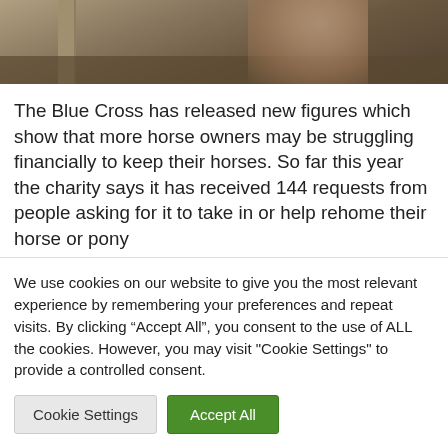[Figure (photo): Partial photo of a horse or pony near a wooden post, outdoors with dirt/ground visible, cropped at top of page]
The Blue Cross has released new figures which show that more horse owners may be struggling financially to keep their horses. So far this year the charity says it has received 144 requests from people asking for it to take in or help rehome their horse or pony
We use cookies on our website to give you the most relevant experience by remembering your preferences and repeat visits. By clicking “Accept All”, you consent to the use of ALL the cookies. However, you may visit "Cookie Settings" to provide a controlled consent.